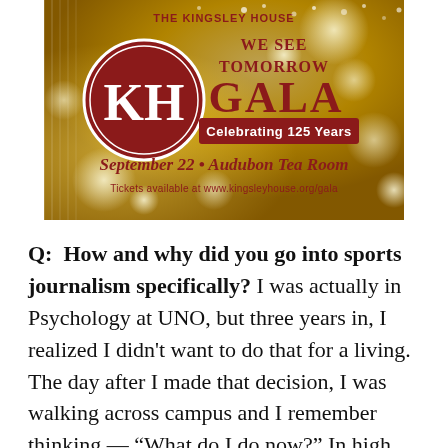[Figure (illustration): Kingsley House 'We See Tomorrow Gala' advertisement. Gold bokeh background with KH logo circle in crimson/white. Text: 'WE SEE TOMORROW GALA Celebrating 125 Years. September 22 • Audubon Tea Room. Tickets available at www.kingsleyhouse.org/gala']
Q:  How and why did you go into sports journalism specifically? I was actually in Psychology at UNO, but three years in, I realized I didn't want to do that for a living. The day after I made that decision, I was walking across campus and I remember thinking — "What do I do now?" In high school,